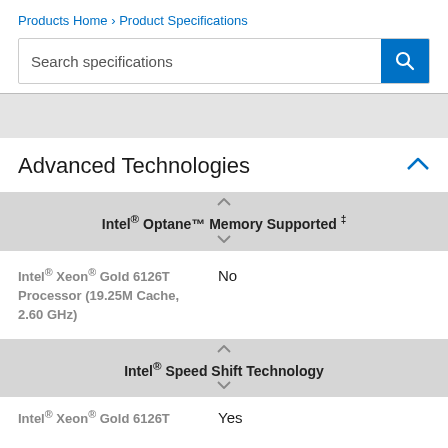Products Home › Product Specifications
Search specifications
Advanced Technologies
Intel® Optane™ Memory Supported ‡
| Processor | Intel® Optane™ Memory Supported |
| --- | --- |
| Intel® Xeon® Gold 6126T Processor (19.25M Cache, 2.60 GHz) | No |
Intel® Speed Shift Technology
| Processor | Intel® Speed Shift Technology |
| --- | --- |
| Intel® Xeon® Gold 6126T | Yes |